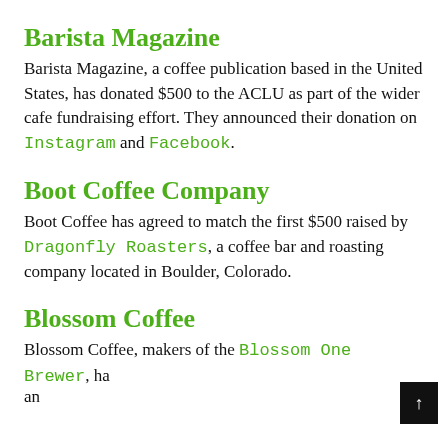Barista Magazine
Barista Magazine, a coffee publication based in the United States, has donated $500 to the ACLU as part of the wider cafe fundraising effort. They announced their donation on Instagram and Facebook.
Boot Coffee Company
Boot Coffee has agreed to match the first $500 raised by Dragonfly Roasters, a coffee bar and roasting company located in Boulder, Colorado.
Blossom Coffee
Blossom Coffee, makers of the Blossom One Brewer, have donated $500 on their hiking donation to the...